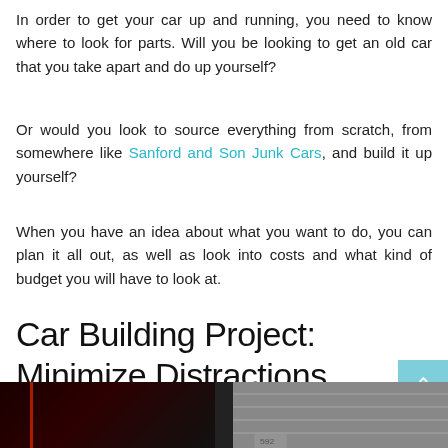In order to get your car up and running, you need to know where to look for parts. Will you be looking to get an old car that you take apart and do up yourself?
Or would you look to source everything from scratch, from somewhere like Sanford and Son Junk Cars, and build it up yourself?
When you have an idea about what you want to do, you can plan it all out, as well as look into costs and what kind of budget you will have to look at.
Car Building Project: Minimize Distractions
[Figure (photo): Dark garage/workshop scene split into two panels: left panel shows a dark red-lit interior with a vertical red line, right panel shows corrugated metal surface in lighter tones]